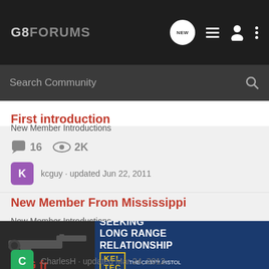G8FORUMS
Search Community
First introduction
New Member Introductions
16   2K
kcguy · updated Jun 22, 2011
New Member From Mississippi
New Member Introductions
11   970
CharlesH · updated Mar 24, 2012
FNG fr
[Figure (screenshot): KEL-TEC advertisement banner with gun image and text SEEKING LONG RANGE RELATIONSHIP, THE CP33 PISTOL]